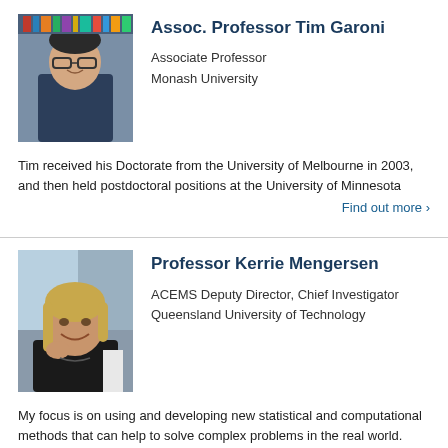[Figure (photo): Headshot of Assoc. Professor Tim Garoni, a man with glasses and dark hair wearing a dark shirt, with bookshelves in the background]
Assoc. Professor Tim Garoni
Associate Professor
Monash University
Tim received his Doctorate from the University of Melbourne in 2003, and then held postdoctoral positions at the University of Minnesota
Find out more ›
[Figure (photo): Headshot of Professor Kerrie Mengersen, a woman with shoulder-length blonde hair smiling, wearing a dark top]
Professor Kerrie Mengersen
ACEMS Deputy Director, Chief Investigator
Queensland University of Technology
My focus is on using and developing new statistical and computational methods that can help to solve complex problems in the real world.